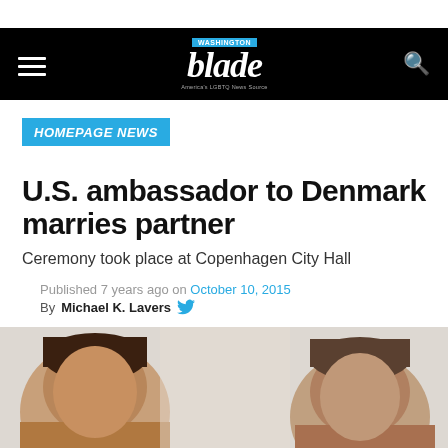Washington Blade — blade
HOMEPAGE NEWS
U.S. ambassador to Denmark marries partner
Ceremony took place at Copenhagen City Hall
Published 7 years ago on October 10, 2015
By Michael K. Lavers
[Figure (photo): Photo showing the heads/faces of two men against a light background, presumably the U.S. ambassador and his partner]